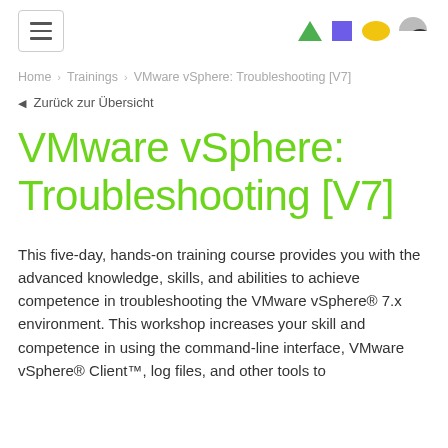[Figure (logo): Navigation header with hamburger menu button on left and colored shape icons (green triangle, purple square, yellow oval, grey/black half-circle) on right]
Home > Trainings > VMware vSphere: Troubleshooting [V7]
← Zurück zur Übersicht
VMware vSphere: Troubleshooting [V7]
This five-day, hands-on training course provides you with the advanced knowledge, skills, and abilities to achieve competence in troubleshooting the VMware vSphere® 7.x environment. This workshop increases your skill and competence in using the command-line interface, VMware vSphere® Client™, log files, and other tools to